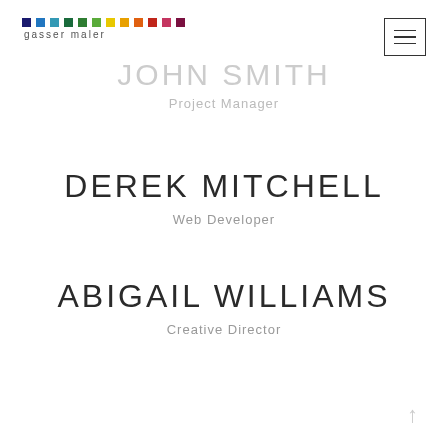[Figure (logo): Gasser Maler logo with colorful square dots in a row and the text 'gasser maler' below]
[Figure (other): Hamburger menu icon: a rectangle border with three horizontal lines inside]
JOHN SMITH
Project Manager
DEREK MITCHELL
Web Developer
ABIGAIL WILLIAMS
Creative Director